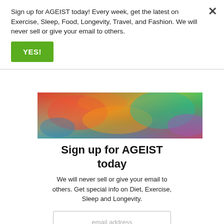Sign up for AGEIST today! Every week, get the latest on Exercise, Sleep, Food, Longevity, Travel, and Fashion. We will never sell or give your email to others.
YES!
[Figure (photo): Colorful abstract painting, partially visible, showing a person in vibrant colors]
Sign up for AGEIST today
We will never sell or give your email to others. Get special info on Diet, Exercise, Sleep and Longevity.
email address
Yes